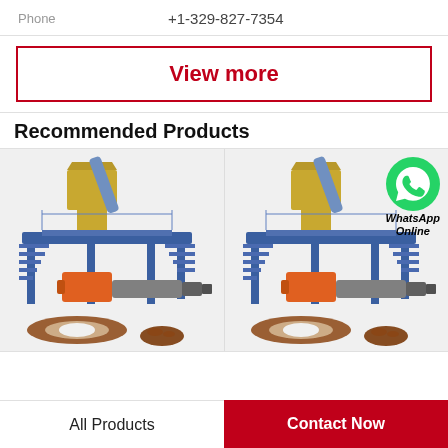Phone    +1-329-827-7354
View more
Recommended Products
[Figure (photo): Industrial fish feed pellet machine (extruder) with blue frame, orange gearbox, conveyor and hopper, shown with brown fish-shaped pellets and loose pellets in foreground. Two identical product images side by side. Right image has WhatsApp Online overlay.]
All Products
Contact Now